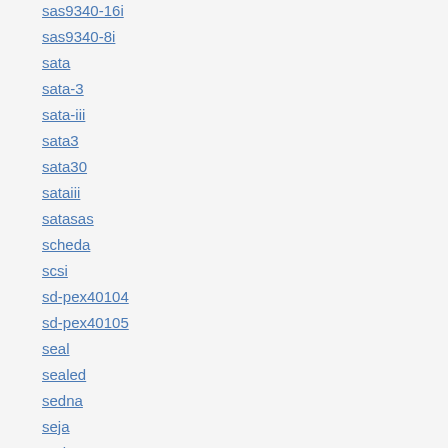sas9340-16i
sas9340-8i
sata
sata-3
sata-iii
sata3
sata30
sataiii
satasas
scheda
scsi
sd-pex40104
sd-pex40105
seal
sealed
sedna
seja
series
server
serveraid